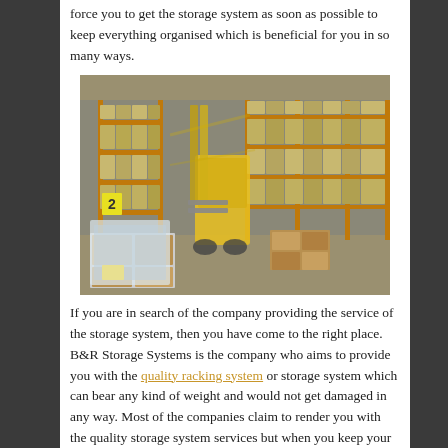force you to get the storage system as soon as possible to keep everything organised which is beneficial for you in so many ways.
[Figure (photo): A warehouse interior with tall orange shelving racks filled with boxes and packages. A yellow forklift is visible in motion in the center aisle. Cardboard boxes and wrapped pallets are on the floor in the foreground.]
If you are in search of the company providing the service of the storage system, then you have come to the right place. B&R Storage Systems is the company who aims to provide you with the quality racking system or storage system which can bear any kind of weight and would not get damaged in any way. Most of the companies claim to render you with the quality storage system services but when you keep your stock on it, it breaks or gets